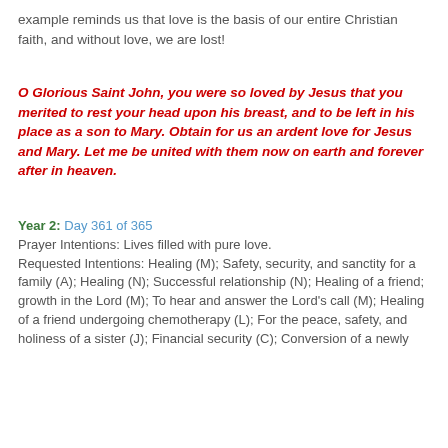example reminds us that love is the basis of our entire Christian faith, and without love, we are lost!
O Glorious Saint John, you were so loved by Jesus that you merited to rest your head upon his breast, and to be left in his place as a son to Mary. Obtain for us an ardent love for Jesus and Mary. Let me be united with them now on earth and forever after in heaven.
Year 2: Day 361 of 365
Prayer Intentions: Lives filled with pure love.
Requested Intentions: Healing (M); Safety, security, and sanctity for a family (A); Healing (N); Successful relationship (N); Healing of a friend; growth in the Lord (M); To hear and answer the Lord's call (M); Healing of a friend undergoing chemotherapy (L); For the peace, safety, and holiness of a sister (J); Financial security (C); Conversion of a newly